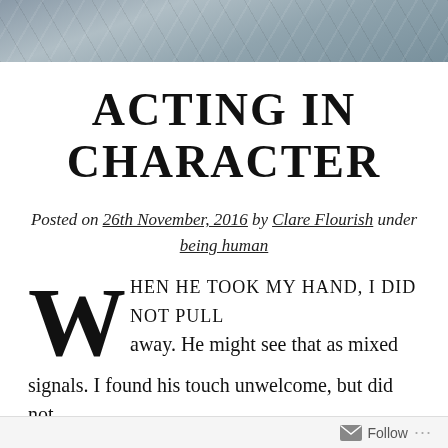[Figure (photo): Gray stone/marble textured header image banner]
ACTING IN CHARACTER
Posted on 26th November, 2016 by Clare Flourish under being human
When he took my hand, I did not pull away. He might see that as mixed signals. I found his touch unwelcome, but did not
Follow